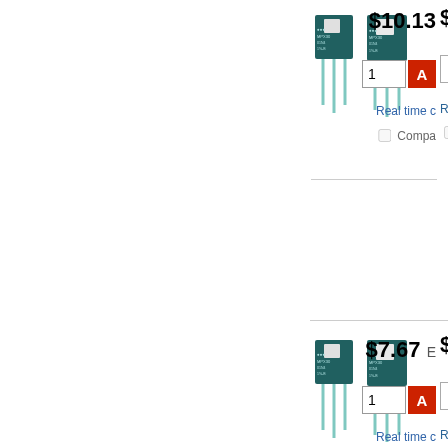[Figure (photo): Two transistor/electronic components (MPX30 style TO-126 packages) shown side by side, first product listing, price $10.13]
$10.13
1
Real time c
Compa
[Figure (photo): Two transistor/electronic components (MPX30 style TO-126 packages) shown side by side, second product listing, price $7.67]
$7.67 E
1
Real time c
Compa
Recently Searched
caddock